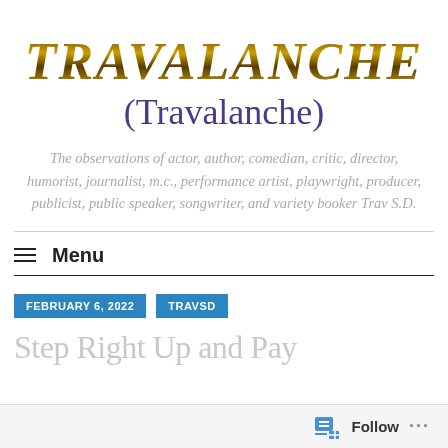TRAVALANCHE
(Travalanche)
The observations of actor, author, comedian, critic, director, humorist, journalist, m.c., performance artist, playwright, producer, publicist, public speaker, songwriter, and variety booker Trav S.D.
Menu
FEBRUARY 6, 2022
TRAVSD
Step Right Up and Pay